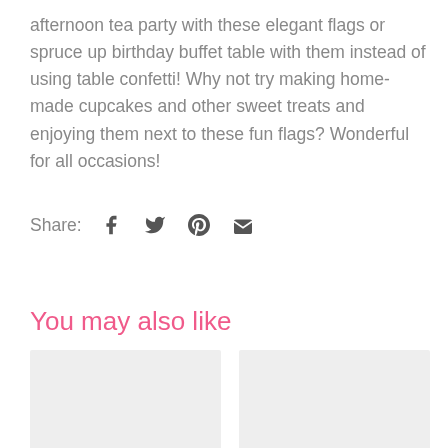afternoon tea party with these elegant flags or spruce up birthday buffet table with them instead of using table confetti! Why not try making home-made cupcakes and other sweet treats and enjoying them next to these fun flags? Wonderful for all occasions!
Share:
You may also like
[Figure (other): Two empty product image placeholder boxes side by side]